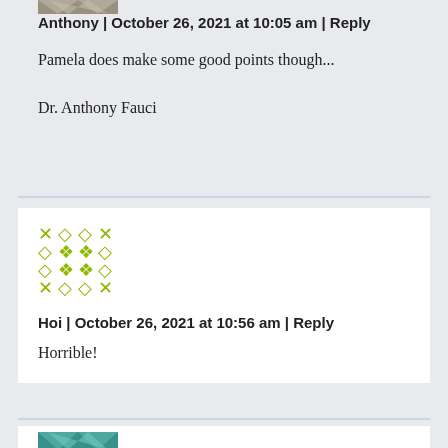[Figure (illustration): Geometric avatar icon with gray/beige pattern at top, partially visible]
Anthony | October 26, 2021 at 10:05 am | Reply
Pamela does make some good points though...

Dr. Anthony Fauci
[Figure (illustration): Geometric avatar icon with green/olive cross and diamond pattern]
Hoi | October 26, 2021 at 10:56 am | Reply
Horrible!
[Figure (illustration): Geometric avatar icon with teal/blue pattern, partially visible at bottom]